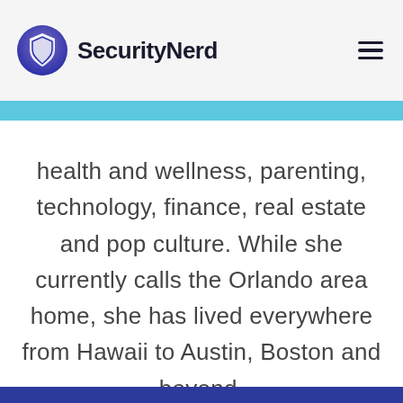SecurityNerd
health and wellness, parenting, technology, finance, real estate and pop culture. While she currently calls the Orlando area home, she has lived everywhere from Hawaii to Austin, Boston and beyond.